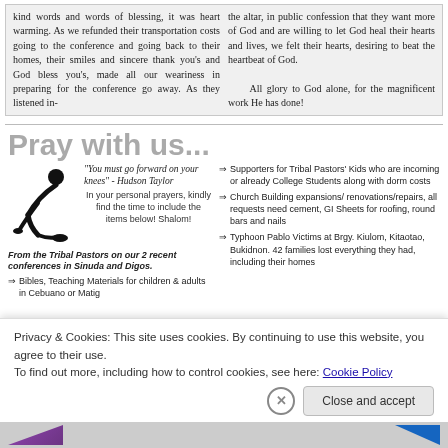kind words and words of blessing, it was heart warming. As we refunded their transportation costs going to the conference and going back to their homes, their smiles and sincere thank you's and God bless you's, made all our weariness in preparing for the conference go away. As they listened in-
the altar, in public confession that they want more of God and are willing to let God heal their hearts and lives, we felt their hearts, desiring to beat the heartbeat of God.

All glory to God alone, for the magnificent work He has done!
Pray with us...
[Figure (illustration): Silhouette of a person kneeling in prayer]
"You must go forward on your knees" - Hudson Taylor

In your personal prayers, kindly find the time to include the items below! Shalom!
From the Tribal Pastors on our 2 recent conferences in Sinuda and Digos.
Bibles, Teaching Materials for children & adults in Cebuano or Matig
Supporters for Tribal Pastors' Kids who are incoming or already College Students along with dorm costs
Church Building expansions/renovations/repairs, all requests need cement, GI Sheets for roofing, round bars and nails
Typhoon Pablo Victims at Brgy. Kiulom, Kitaotao, Bukidnon. 42 families lost everything they had, including their homes
Privacy & Cookies: This site uses cookies. By continuing to use this website, you agree to their use.
To find out more, including how to control cookies, see here: Cookie Policy
Close and accept